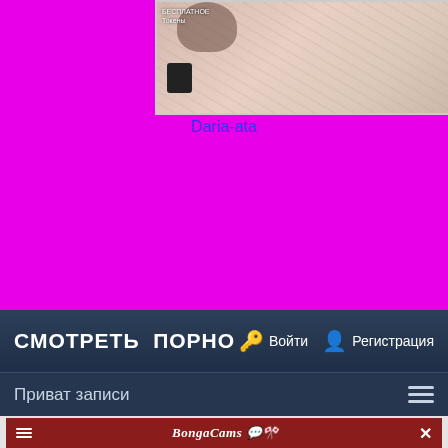[Figure (screenshot): Thumbnail image of person on bed with feathered bedding, magenta/pink background, overlay text top-left]
Daria-ata
СМОТРЕТЬ ПОРНО   Войти   Регистрация
Приват записи
[Figure (screenshot): BongaCams video player interface with red header bar showing BongaCams logo, hamburger menu, close X, fullscreen and camera icons, black video area with play button and LIVE label]